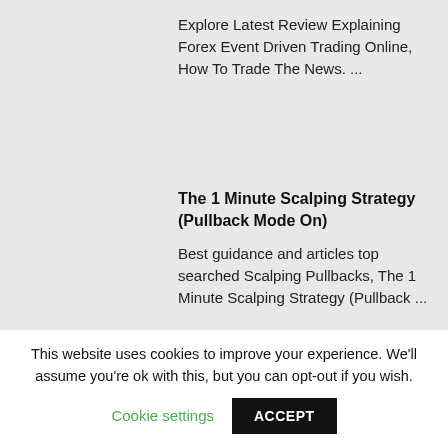Explore Latest Review Explaining Forex Event Driven Trading Online, How To Trade The News. ...
The 1 Minute Scalping Strategy (Pullback Mode On)
Best guidance and articles top searched Scalping Pullbacks, The 1 Minute Scalping Strategy (Pullback ...
This website uses cookies to improve your experience. We'll assume you're ok with this, but you can opt-out if you wish.
Cookie settings
ACCEPT